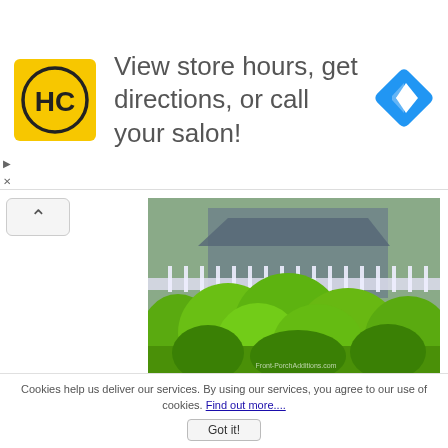[Figure (infographic): Advertisement banner with yellow HC logo on left, text 'View store hours, get directions, or call your salon!' in center, and blue diamond navigation icon on right]
[Figure (photo): Outdoor photo of a house front yard with green lush bushes and shrubs, white fence and house in background. Watermark reads Front-PorchAdditions.com]
The spacing of turned balusters can also provide you with different looks
Cookies help us deliver our services. By using our services, you agree to our use of cookies. Find out more....
Got it!